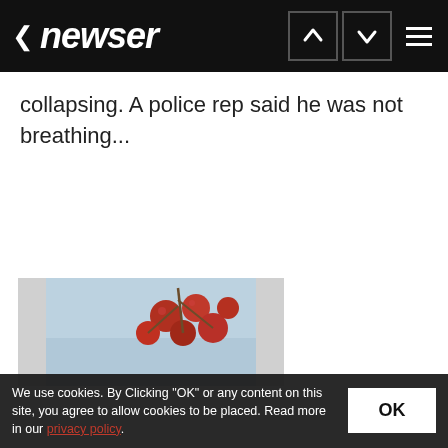newser
collapsing. A police rep said he was not breathing...
[Figure (photo): Partial image of what appears to be red berries or similar objects against a light blue background, cropped at the bottom of the page.]
We use cookies. By Clicking "OK" or any content on this site, you agree to allow cookies to be placed. Read more in our privacy policy.